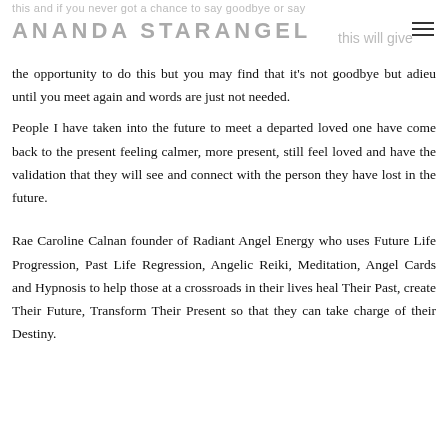ANANDA STARANGEL this will give
the opportunity to do this but you may find that it's not goodbye but adieu until you meet again and words are just not needed. People I have taken into the future to meet a departed loved one have come back to the present feeling calmer, more present, still feel loved and have the validation that they will see and connect with the person they have lost in the future.
Rae Caroline Calnan founder of Radiant Angel Energy who uses Future Life Progression, Past Life Regression, Angelic Reiki, Meditation, Angel Cards and Hypnosis to help those at a crossroads in their lives heal Their Past, create Their Future, Transform Their Present so that they can take charge of their Destiny.